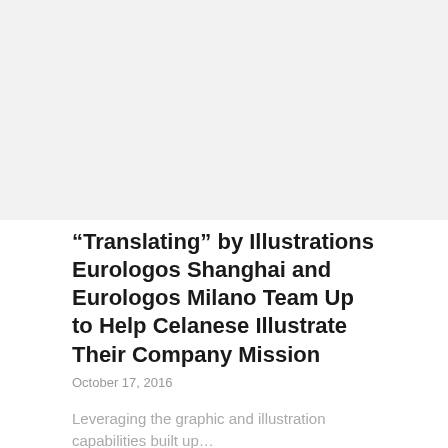[Figure (photo): Light gray placeholder image area at the top of the page]
“Translating” by Illustrations Eurologos Shanghai and Eurologos Milano Team Up to Help Celanese Illustrate Their Company Mission
October 17, 2016
Leveraging the graphic and illustration capabilities built up…